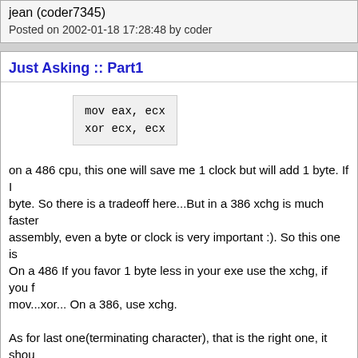jean (coder7345)
Posted on 2002-01-18 17:28:48 by coder
Just Asking :: Part1
on a 486 cpu, this one will save me 1 clock but will add 1 byte. If I byte. So there is a tradeoff here...But in a 386 xchg is much faster assembly, even a byte or clock is very important :). So this one is On a 486 If you favor 1 byte less in your exe use the xchg, if you f mov...xor... On a 386, use xchg.

As for last one(terminating character), that is the right one, it shou character so I added 0...I should have notice that one before since Thanks.
Posted on 2002-01-18 17:48:56 by stryker
umberg6007
Hi again!
I take a look on the code again, and i've notice that if u try to conv chars (A,B,C,D,E and F) NOT the numbers. Soo i try to fix this "bu bechmarking i get this: